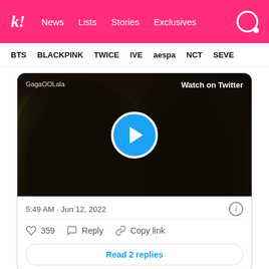k! News   Lists   Stories   Exclusives
BTS   BLACKPINK   TWICE   IVE   aespa   NCT   SEVE
[Figure (screenshot): Embedded Twitter/X video player showing two silhouetted figures outdoors, with GagaOOLala watermark, 'Watch on Twitter' text, and a blue play button circle in the center.]
5:49 AM · Jun 12, 2022
♡ 359   Reply   Copy link
Read 2 replies